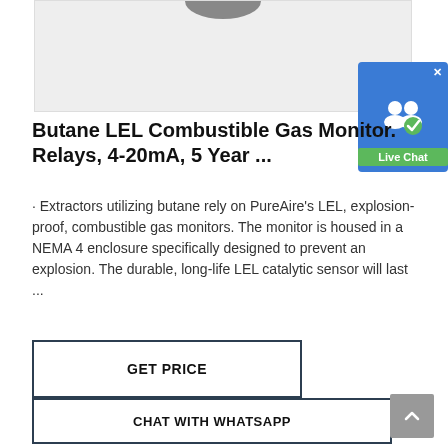[Figure (photo): Product photo of Butane LEL Combustible Gas Monitor, top portion visible against light grey background]
[Figure (other): Live Chat widget button with blue background, user icon with green checkmark, and green Live Chat label]
Butane LEL Combustible Gas Monitor. Relays, 4-20mA, 5 Year ...
· Extractors utilizing butane rely on PureAire's LEL, explosion-proof, combustible gas monitors. The monitor is housed in a NEMA 4 enclosure specifically designed to prevent an explosion. The durable, long-life LEL catalytic sensor will last ...
GET PRICE
CHAT WITH WHATSAPP